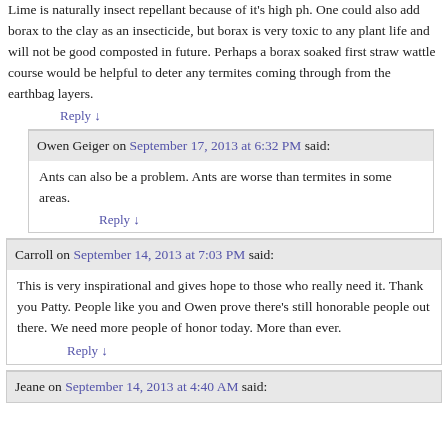Lime is naturally insect repellant because of it's high ph. One could also add borax to the clay as an insecticide, but borax is very toxic to any plant life and will not be good composted in future. Perhaps a borax soaked first straw wattle course would be helpful to deter any termites coming through from the earthbag layers.
Reply ↓
Owen Geiger on September 17, 2013 at 6:32 PM said:
Ants can also be a problem. Ants are worse than termites in some areas.
Reply ↓
Carroll on September 14, 2013 at 7:03 PM said:
This is very inspirational and gives hope to those who really need it. Thank you Patty. People like you and Owen prove there's still honorable people out there. We need more people of honor today. More than ever.
Reply ↓
Jeane on September 14, 2013 at 4:40 AM said: